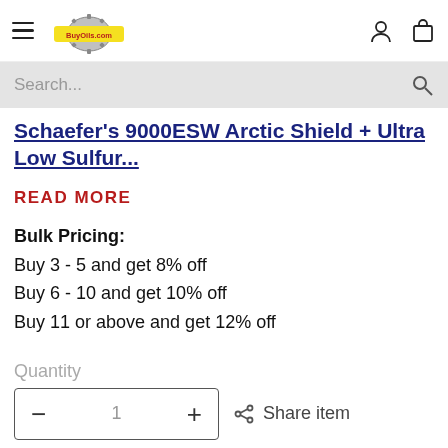BuyOils.com — navigation header with hamburger menu, logo, account and cart icons
Search...
Schaefer's 9000ESW Arctic Shield + Ultra Low Sulfur...
READ MORE
Bulk Pricing:
Buy 3 - 5 and get 8% off
Buy 6 - 10 and get 10% off
Buy 11 or above and get 12% off
Quantity
− 1 + Share item